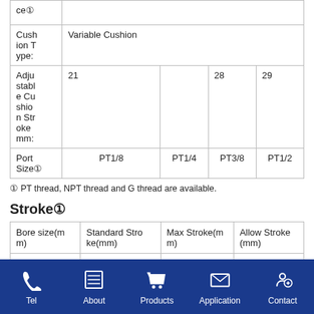|  |  |  |  |  |
| --- | --- | --- | --- | --- |
| ce① |  |  |  |  |
| Cushion Type: | Variable Cushion |  |  |  |
| Adjustable Cushion Stroke mm: | 21 |  | 28 | 29 |
| Port Size① | PT1/8 | PT1/4 | PT3/8 | PT1/2 |
① PT thread, NPT thread and G thread are available.
Stroke①
| Bore size(mm) | Standard Stroke(mm) | Max Stroke(mm) | Allow Stroke(mm) |
| --- | --- | --- | --- |
| 32 | 25,50,75,100... | 1000 | 2000 |
Tel  About  Products  Application  Contact